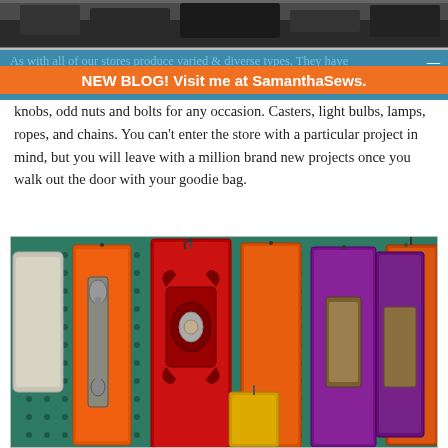[Figure (photo): Top cropped photo showing dark objects, likely hardware or metal items, on a dark background]
NEW BLOG! Visit me at SamanthaSews.
knobs, odd nuts and bolts for any occasion. Casters, light bulbs, lamps, ropes, and chains. You can’t enter the store with a particular project in mind, but you will leave with a million brand new projects once you walk out the door with your goodie bag.
[Figure (photo): Photo of decorative hardware knobs and handles in orange, red, and purple packaging hanging on a teal pegboard display]